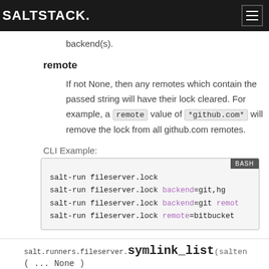SALTSTACK
backend(s).
remote
If not None, then any remotes which contain the passed string will have their lock cleared. For example, a `remote` value of `*github.com*` will remove the lock from all github.com remotes.
CLI Example:
salt-run fileserver.lock
salt-run fileserver.lock backend=git,hg
salt-run fileserver.lock backend=git remote=...
salt-run fileserver.lock remote=bitbucket
salt.runners.fileserver. symlink_list (salte...
( ... None )